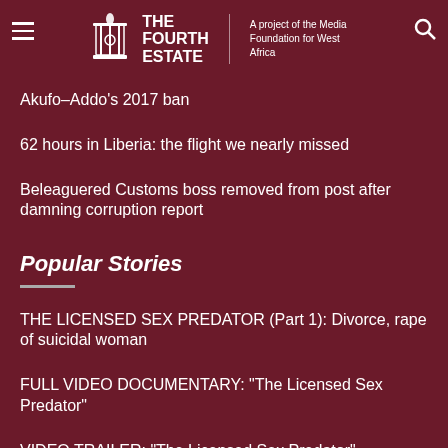THE FOURTH ESTATE | A project of the Media Foundation for West Africa
Akufo-Addo's 2017 ban
62 hours in Liberia: the flight we nearly missed
Beleaguered Customs boss removed from post after damning corruption report
Popular Stories
THE LICENSED SEX PREDATOR (Part 1): Divorce, rape of suicidal woman
FULL VIDEO DOCUMENTARY: “The Licensed Sex Predator”
VIDEO TRAILER: “The Licensed Sex Predator” investigation by The Fourth Estate